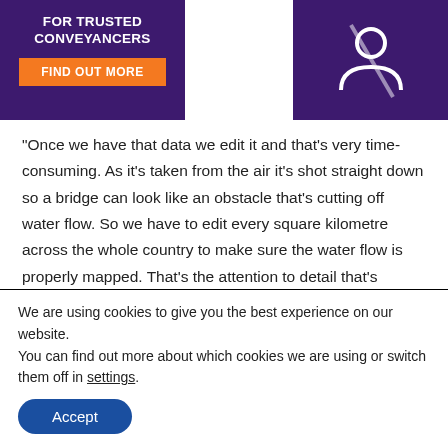[Figure (illustration): Purple banner with bold white text 'FOR TRUSTED CONVEYANCERS' and an orange 'FIND OUT MORE' button below]
[Figure (illustration): Purple square with a white circular icon (stylized person/no symbol) on a dark purple background]
"Once we have that data we edit it and that’s very time-consuming. As it’s taken from the air it’s shot straight down so a bridge can look like an obstacle that’s cutting off water flow. So we have to edit every square kilometre across the whole country to make sure the water flow is properly mapped. That’s the attention to detail that’s involved – but it’s vital.
"When we’re happy with the height map we can start the flood mapping itself. We model on a 5m by 5m metre square grid and
We are using cookies to give you the best experience on our website.
You can find out more about which cookies we are using or switch them off in settings.
Accept